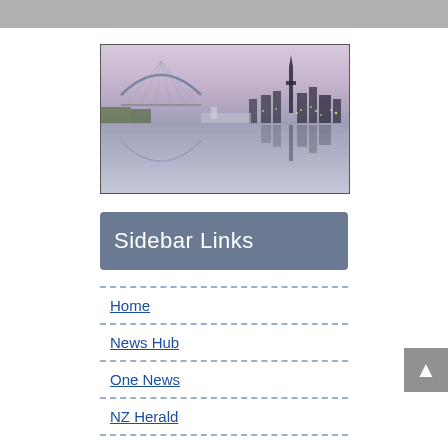[Figure (photo): Auckland city skyline at dusk reflected in water, with Sky Tower and bridge visible]
Sidebar Links
Home
News Hub
One News
NZ Herald
Stuff